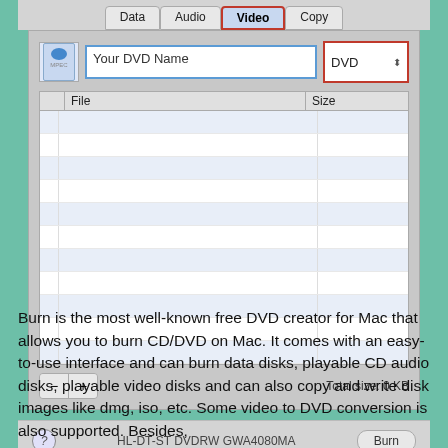[Figure (screenshot): Mac OS X Burn application window showing Video tab selected with DVD name field, file list with File/Size columns, minus/plus buttons, Total size: 0 KB, and HL-DT-ST DVDRW GWA4080MA drive with Burn button]
Burn is the most well-known free DVD creator for Mac that allows you to burn CD/DVD on Mac. It comes with an easy-to-use interface and can burn data disks, playable CD audio disks, playable video disks and can also copy and write disk images like dmg, iso, etc. Some video to DVD conversion is also supported. Besides,